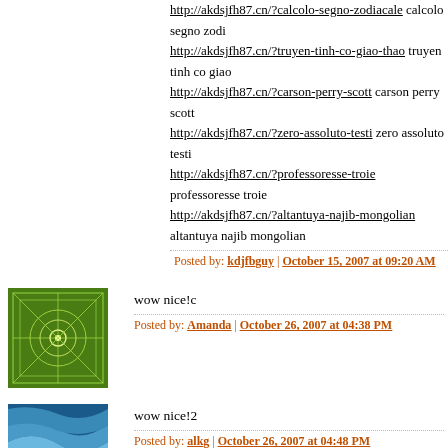http://akdsjfh87.cn/?calcolo-segno-zodiacale calcolo segno zodi
http://akdsjfh87.cn/?truyen-tinh-co-giao-thao truyen tinh co giao
http://akdsjfh87.cn/?carson-perry-scott carson perry scott
http://akdsjfh87.cn/?zero-assoluto-testi zero assoluto testi
http://akdsjfh87.cn/?professoresse-troie professoresse troie
http://akdsjfh87.cn/?altantuya-najib-mongolian altantuya najib mongolian
Posted by: kdjfbguy | October 15, 2007 at 09:20 AM
[Figure (illustration): Green geometric decorative avatar with star/web pattern]
wow nice!c
Posted by: Amanda | October 26, 2007 at 04:38 PM
[Figure (illustration): Blue wave/water pattern avatar]
wow nice!2
Posted by: alkg | October 26, 2007 at 04:48 PM
[Figure (illustration): Abstract blue sphere/globe avatar]
restaurant soma
Posted by: aivo.schults@mail.ee | October 26, 2007 at 09:31 PM
[Figure (illustration): Partially visible avatar at bottom of page]